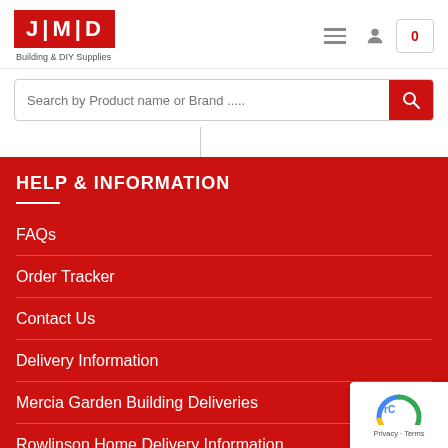[Figure (logo): JMD Building & DIY Supplies logo — red rectangle with white bold text J|M|D, tagline below]
Search by Product name or Brand .....
HELP & INFORMATION
FAQs
Order Tracker
Contact Us
Delivery Information
Mercia Garden Building Deliveries
Rowlinson Home Delivery Information